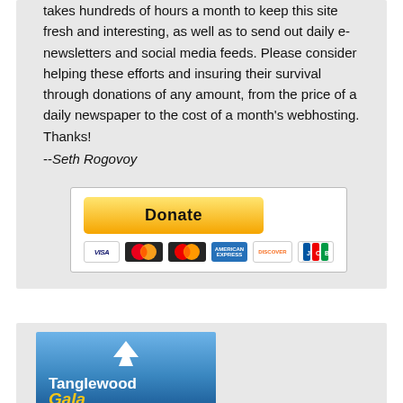takes hundreds of hours a month to keep this site fresh and interesting, as well as to send out daily e-newsletters and social media feeds. Please consider helping these efforts and insuring their survival through donations of any amount, from the price of a daily newspaper to the cost of a month's webhosting. Thanks!
--Seth Rogovoy
[Figure (other): PayPal Donate button with credit card icons (Visa, Mastercard, American Express, Discover, JCB)]
[Figure (illustration): Tanglewood logo banner with tree icon on blue gradient background and stylized gold italic text]